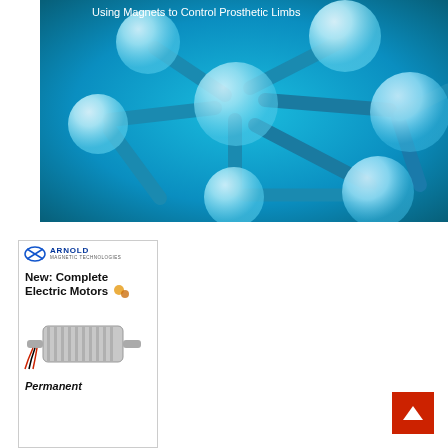[Figure (illustration): Molecular structure illustration with blue spheres connected by teal/blue cylindrical rods against a gradient blue background. Title text 'Using Magnets to Control Prosthetic Limbs' appears at the top.]
Using Magnets to Control Prosthetic Limbs
[Figure (photo): Advertisement for Arnold Magnetic Technologies featuring logo, headline 'New: Complete Electric Motors', photo of an electric motor, and text 'Permanent']